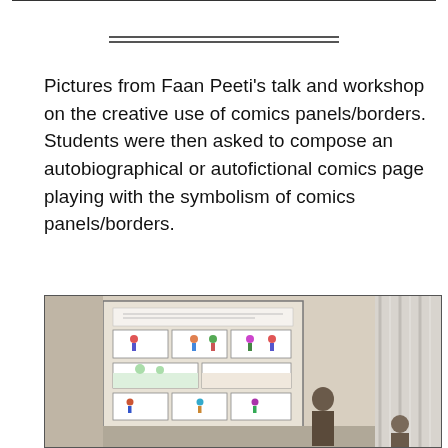Pictures from Faan Peeti's talk and workshop on the creative use of comics panels/borders. Students were then asked to compose an autobiographical or autofictional comics page playing with the symbolism of comics panels/borders.
[Figure (photo): A photograph of a presenter giving a talk with a projected slide showing comics panels with stick figures in a classroom or meeting room setting. White curtains are visible on the right side of the image.]